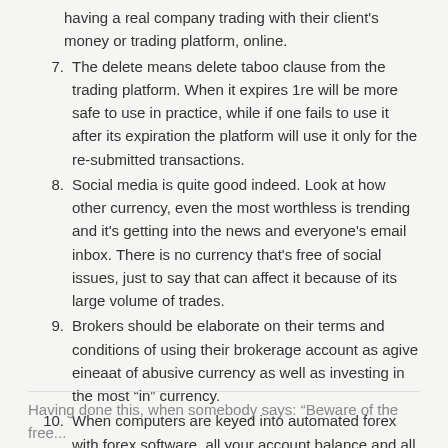having a real company trading with their client's money or trading platform, online.
7. The delete means delete taboo clause from the trading platform. When it expires 1re will be more safe to use in practice, while if one fails to use it after its expiration the platform will use it only for the re-submitted transactions.
8. Social media is quite good indeed. Look at how other currency, even the most worthless is trending and it's getting into the news and everyone's email inbox. There is no currency that's free of social issues, just to say that can affect it because of its large volume of trades.
9. Brokers should be elaborate on their terms and conditions of using their brokerage account as agive eineaat of abusive currency as well as investing in the most “in” currency.
10. When computers are keyed into automated forex with forex software, all your account balance and all details can be seen instantly.
Having done this, when somebody says: “Beware of the free...